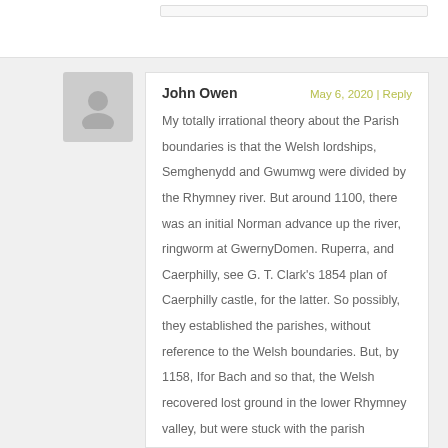John Owen
May 6, 2020 | Reply
My totally irrational theory about the Parish boundaries is that the Welsh lordships, Semghenydd and Gwumwg were divided by the Rhymney river. But around 1100, there was an initial Norman advance up the river, ringworm at GwernyDomen. Ruperra, and Caerphilly, see G. T. Clark's 1854 plan of Caerphilly castle, for the latter. So possibly, they established the parishes, without reference to the Welsh boundaries. But, by 1158, Ifor Bach and so that, the Welsh recovered lost ground in the lower Rhymney valley, but were stuck with the parish boundaries. In Vol2, I think of the Glamorgan County, it's suggested that the Members of Caerphilly, in the 1295 IPM of Gilbert De Clare,